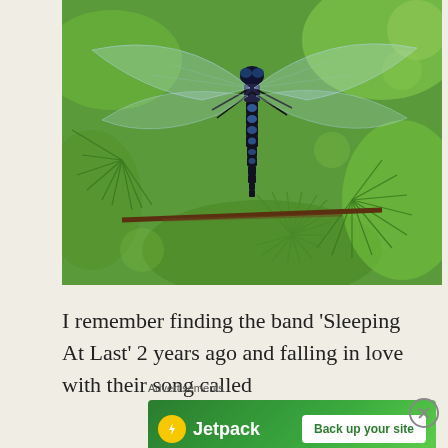[Figure (photo): Close-up photograph of a dragonfly with transparent wings perched on green pine/fir tree branches. The dragonfly has a long black and blue segmented abdomen and large compound eyes.]
I remember finding the band 'Sleeping At Last' 2 years ago and falling in love with their song called
Advertisements
[Figure (logo): Jetpack advertisement banner with green background. Shows Jetpack logo (yellow circle with lightning bolt icon) and text 'Jetpack' in white, with a white button reading 'Back up your site' in green text.]